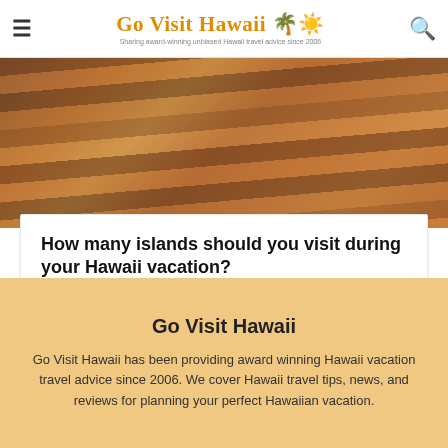Go Visit Hawaii — Sharing award-winning unbiased Hawaii travel advice since 2006
[Figure (photo): Row of colorful surfboards leaning against a wooden wall, featuring orange, red, green, and black boards.]
How many islands should you visit during your Hawaii vacation?
February 13, 2018
Go Visit Hawaii
Go Visit Hawaii has been providing award winning Hawaii vacation travel advice since 2006. We cover Hawaii travel tips, news, and reviews for planning your perfect Hawaiian vacation.